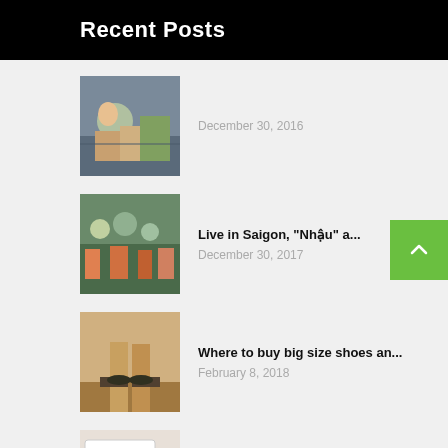Recent Posts
[Figure (photo): Crowd scene, people outdoors]
December 30, 2016
[Figure (photo): Crowd scene with colorful items]
Live in Saigon, "Nhậu" a...
December 30, 2017
[Figure (photo): Person's feet in sneakers on wooden floor]
Where to buy big size shoes an...
February 8, 2018
[Figure (photo): Person holding a note card with text 'are you up to date?']
Shots you must take before com...
February 8, 2018